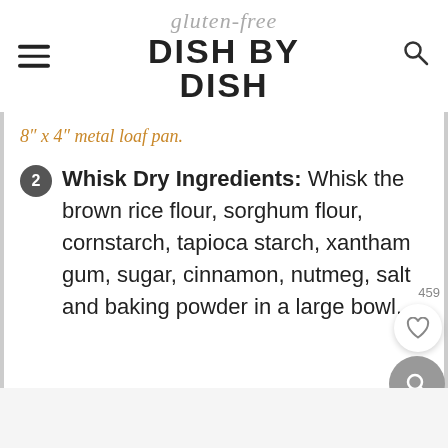gluten-free DISH BY DISH
8″ x 4″ metal loaf pan.
2 Whisk Dry Ingredients: Whisk the brown rice flour, sorghum flour, cornstarch, tapioca starch, xantham gum, sugar, cinnamon, nutmeg, salt and baking powder in a large bowl.